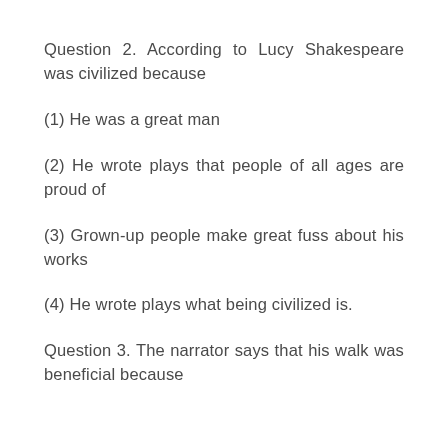Question 2. According to Lucy Shakespeare was civilized because
(1) He was a great man
(2) He wrote plays that people of all ages are proud of
(3) Grown-up people make great fuss about his works
(4) He wrote plays what being civilized is.
Question 3. The narrator says that his walk was beneficial because